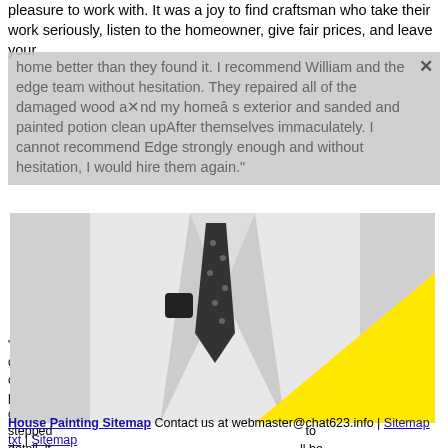pleasure to work with. It was a joy to find craftsman who take their work seriously, listen to the homeowner, give fair prices, and leave your home better than they found it. I recommend William and the edge team without hesitation. They repaired all of the damaged wood a[X]nd my homeâ s exterior and sanded and painted potion clean upAfter themselves immaculately. I cannot recommend Edge strongly enough and without hesitation, I would hire them again."
[Figure (photo): Black and white photo of a man in a white suit with a black polka-dot tie and pocket square, overlaid with a large yellow triangle shape in the lower right portion of the image.]
"Just a[...] is doing o[...] and we couldn't [...] ng, this project [...] of our clapboa[...] really stepped [...] to detail, it [...] ll be happy w[...] the quality [...] arly complete, we're really looking forward to the end result. Please share our praise with your team-they have certainly earned it!" House Painting House Painting Sitemap Contact us at webmaster@chat623.info | Sitemap txt | Sitemap